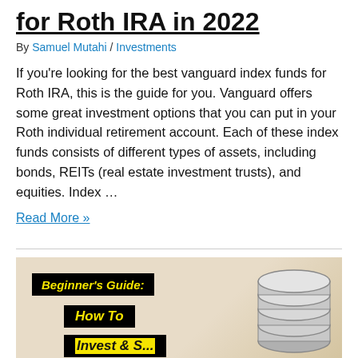for Roth IRA in 2022
By Samuel Mutahi / Investments
If you're looking for the best vanguard index funds for Roth IRA, this is the guide for you. Vanguard offers some great investment options that you can put in your Roth individual retirement account. Each of these index funds consists of different types of assets, including bonds, REITs (real estate investment trusts), and equities. Index …
Read More »
[Figure (photo): Beginner's Guide: How To [invest/...] - promotional image with yellow italic bold text on black background overlay, with coin stack visible on right side]